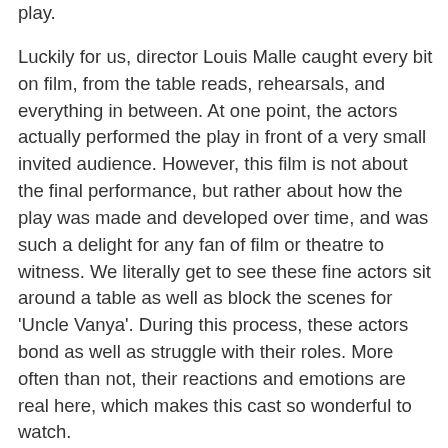play.
Luckily for us, director Louis Malle caught every bit on film, from the table reads, rehearsals, and everything in between. At one point, the actors actually performed the play in front of a very small invited audience. However, this film is not about the final performance, but rather about how the play was made and developed over time, and was such a delight for any fan of film or theatre to witness. We literally get to see these fine actors sit around a table as well as block the scenes for 'Uncle Vanya'. During this process, these actors bond as well as struggle with their roles. More often than not, their reactions and emotions are real here, which makes this cast so wonderful to watch.